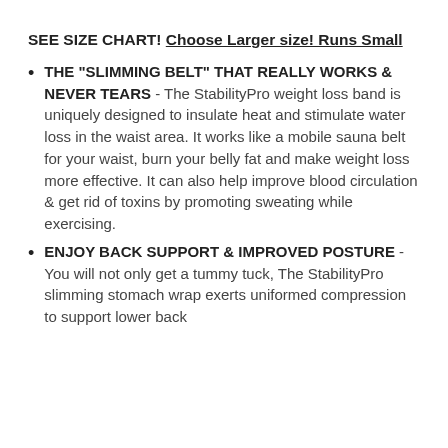SEE SIZE CHART! Choose Larger size! Runs Small
THE "SLIMMING BELT" THAT REALLY WORKS & NEVER TEARS - The StabilityPro weight loss band is uniquely designed to insulate heat and stimulate water loss in the waist area. It works like a mobile sauna belt for your waist, burn your belly fat and make weight loss more effective. It can also help improve blood circulation & get rid of toxins by promoting sweating while exercising.
ENJOY BACK SUPPORT & IMPROVED POSTURE - You will not only get a tummy tuck, The StabilityPro slimming stomach wrap exerts uniformed compression to support lower back